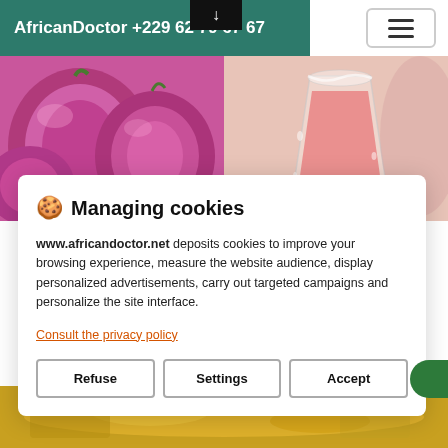AfricanDoctor +229 62 79 67 67
[Figure (photo): Two-panel image: left panel shows purple/red onions close-up, right panel shows a glass of pink/red juice]
🍪 Managing cookies
www.africandoctor.net deposits cookies to improve your browsing experience, measure the website audience, display personalized advertisements, carry out targeted campaigns and personalize the site interface.
Consult the privacy policy
Refuse    Settings    Accept
[Figure (photo): Bottom strip showing what appears to be oil or liquid with food items]